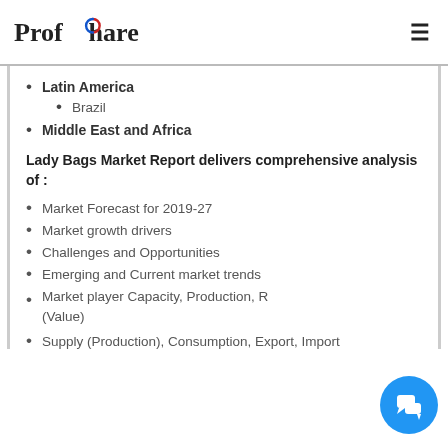ProfShare
Latin America
Brazil
Middle East and Africa
Lady Bags Market Report delivers comprehensive analysis of :
Market Forecast for 2019-27
Market growth drivers
Challenges and Opportunities
Emerging and Current market trends
Market player Capacity, Production, R... (Value)
Supply (Production), Consumption, Export, Import...